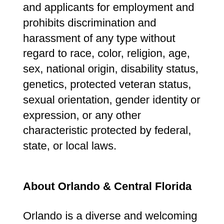and applicants for employment and prohibits discrimination and harassment of any type without regard to race, color, religion, age, sex, national origin, disability status, genetics, protected veteran status, sexual orientation, gender identity or expression, or any other characteristic protected by federal, state, or local laws.
About Orlando & Central Florida
Orlando is a diverse and welcoming city with beautiful parks and neighborhoods, vibrant food, arts, and sports scenes, and a strong sense of community. For outdoor enthusiasts, we're less than an hour from the beach, and we're surrounded by beautiful lakes, natural springs, and rivers for kayaking, diving, tubing, hiking, and more. We also have a few theme parks you might've heard of! Our